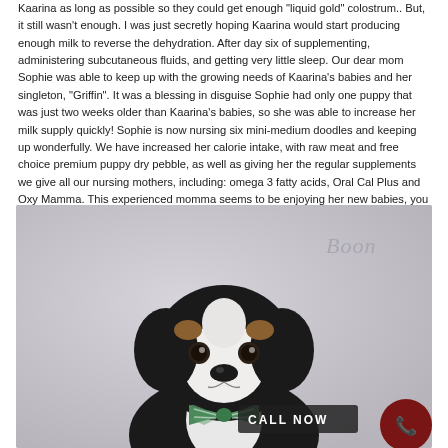Kaarina as long as possible so they could get enough "liquid gold" colostrum.. But, it still wasn't enough. I was just secretly hoping Kaarina would start producing enough milk to reverse the dehydration. After day six of supplementing, administering subcutaneous fluids, and getting very little sleep. Our dear mom Sophie was able to keep up with the growing needs of Kaarina's babies and her singleton, "Griffin". It was a blessing in disguise Sophie had only one puppy that was just two weeks older than Kaarina's babies, so she was able to increase her milk supply quickly! Sophie is now nursing six mini-medium doodles and keeping up wonderfully. We have increased her calorie intake, with raw meat and free choice premium puppy dry pebble, as well as giving her the regular supplements we give all our nursing mothers, including: omega 3 fatty acids, Oral Cal Plus and Oxy Mamma. This experienced momma seems to be enjoying her new babies, you can look for updates on our Facebook page. We are feeling so blessed! Selections are tentatively planned for February 19th. Take home no sooner than March 6th, 2020.
[Figure (photo): A puppy with black, white and tan markings wearing a green and white striped bow tie, photographed against a soft grey background. The name 'Boon' appears in italic grey text in the upper right of the image. A 'CALL NOW' button and a dark red phone icon circle are overlaid at the bottom right of the image.]